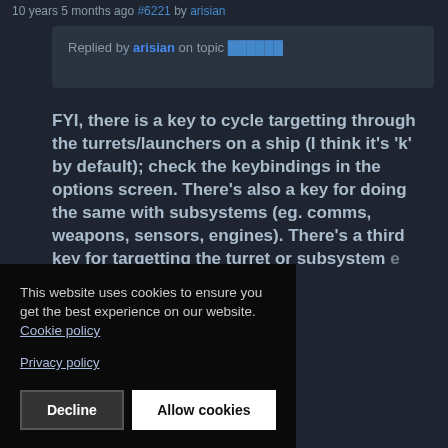10 years 5 months ago #6221 by arisian
Replied by arisian on topic [topic link]
FYI, there is a key to cycle targetting through the turrets/launchers on a ship (I think it's 'k' by default); check the keybindings in the options screen. There's also a key for doing the same with subsystems (eg. comms, weapons, sensors, engines). There's a third key for targetting the turret or subsystem [partially obscured] e you're [obscured] oin the
This website uses cookies to ensure you get the best experience on our website. Cookie policy
Privacy policy
Decline
Allow cookies